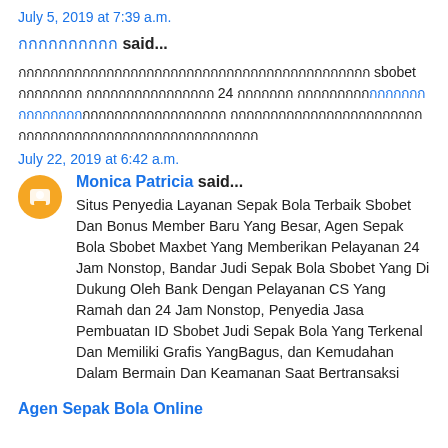July 5, 2019 at 7:39 a.m.
กกกกกกกกกก said...
กกกกกกกกกกกกกกกกกกกกกกกกกกกกกกกกกกกกกกกกกกกก sbobet กกกกกกกก กกกกกกกกกกกกกกกก 24 กกกกกกก กกกกกกกกกกกกกกกกกกกกกกกกกกกกกกกกกกกกกกกกกกกกกกกกกกกกกกกกกกกกกก
July 22, 2019 at 6:42 a.m.
Monica Patricia said...
Situs Penyedia Layanan Sepak Bola Terbaik Sbobet Dan Bonus Member Baru Yang Besar, Agen Sepak Bola Sbobet Maxbet Yang Memberikan Pelayanan 24 Jam Nonstop, Bandar Judi Sepak Bola Sbobet Yang Di Dukung Oleh Bank Dengan Pelayanan CS Yang Ramah dan 24 Jam Nonstop, Penyedia Jasa Pembuatan ID Sbobet Judi Sepak Bola Yang Terkenal Dan Memiliki Grafis YangBagus, dan Kemudahan Dalam Bermain Dan Keamanan Saat Bertransaksi
Agen Sepak Bola Online